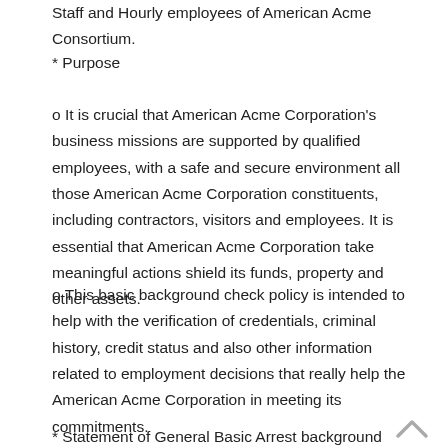Staff and Hourly employees of American Acme Consortium.
* Purpose
o It is crucial that American Acme Corporation’s business missions are supported by qualified employees, with a safe and secure environment all those American Acme Corporation constituents, including contractors, visitors and employees. It is essential that American Acme Corporation take meaningful actions shield its funds, property and other assets.
o This basic background check policy is intended to help with the verification of credentials, criminal history, credit status and also other information related to employment decisions that really help the American Acme Corporation in meeting its commitments.
* Statement of General Basic Arrest background check